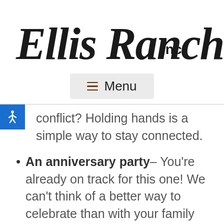[Figure (logo): Ellis Ranch Inc. logo in stylized script font with 'Inc.' in bold sans-serif]
Menu
conflict? Holding hands is a simple way to stay connected.
An anniversary party– You're already on track for this one! We can't think of a better way to celebrate than with your family